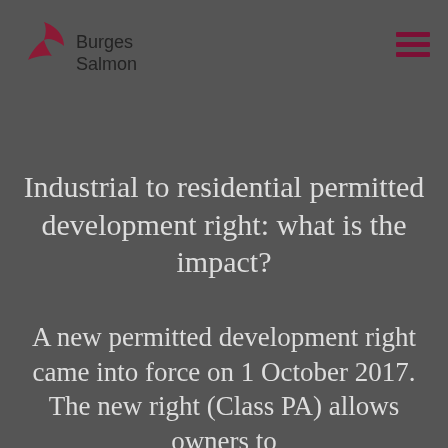[Figure (logo): Burges Salmon logo: dark red wing/fish shape with text 'Burges Salmon' in dark color]
[Figure (other): Hamburger menu icon with three dark red horizontal bars]
Industrial to residential permitted development right: what is the impact?
A new permitted development right came into force on 1 October 2017. The new right (Class PA) allows owners to